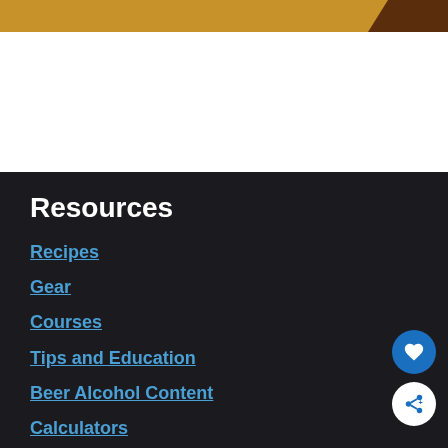[Figure (illustration): Top banner with golden/amber color and dark brown section on right side]
Resources
Recipes
Gear
Courses
Tips and Education
Beer Alcohol Content
Calculators
Beer of the Month Club